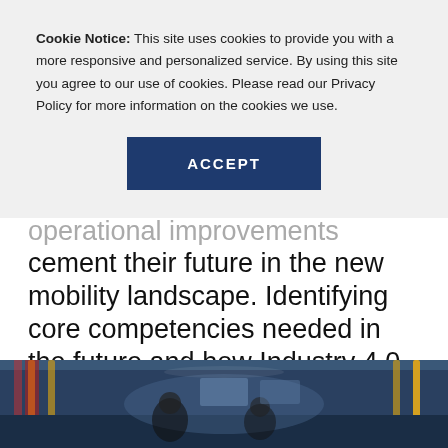Cookie Notice: This site uses cookies to provide you with a more responsive and personalized service. By using this site you agree to our use of cookies. Please read our Privacy Policy for more information on the cookies we use.
[Figure (other): Dark blue ACCEPT button centered in the cookie notice overlay]
operational improvements necessary to cement their future in the new mobility landscape. Identifying core competencies needed in the future and how Industry 4.0 technologies can strengthen operations across the business takes a thorough assessment. Here’s how to begin.
[Figure (photo): Interior of a transit vehicle or similar industrial/transportation facility; people visible inside; blue and yellow color tones.]